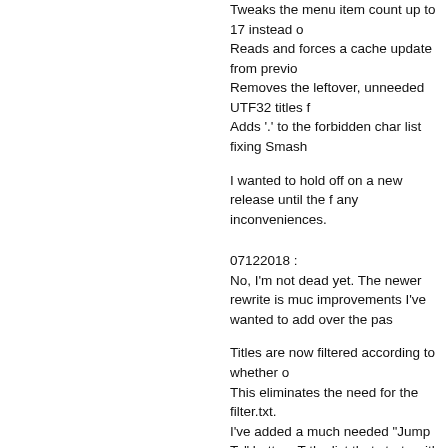Tweaks the menu item count up to 17 instead of
Reads and forces a cache update from previo
Removes the leftover, unneeded UTF32 titles f
Adds '.' to the forbidden char list fixing Smash
I wanted to hold off on a new release until the f any inconveniences.
07122018 :
No, I'm not dead yet. The newer rewrite is muc improvements I've wanted to add over the pas
Titles are now filtered according to whether o
This eliminates the need for the filter.txt.
I've added a much needed "Jump To" button. T the list that starts with it.
The folder menu no longer locks the program i
The backup and restore menus have been me
It no longer relies on 8 libraries and can be bui
Color scheme has been updated to match the
Shared Extdata has not been added yet and a
via https://github.com/J-D-K/JKSM
download https://www.nintendomax.com/viewt
To read more of the post and Download, cli